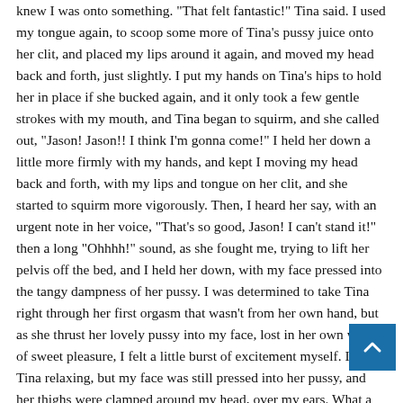knew I was onto something. "That felt fantastic!" Tina said. I used my tongue again, to scoop some more of Tina's pussy juice onto her clit, and placed my lips around it again, and moved my head back and forth, just slightly. I put my hands on Tina's hips to hold her in place if she bucked again, and it only took a few gentle strokes with my mouth, and Tina began to squirm, and she called out, "Jason! Jason!! I think I'm gonna come!" I held her down a little more firmly with my hands, and kept I moving my head back and forth, with my lips and tongue on her clit, and she started to squirm more vigorously. Then, I heard her say, with an urgent note in her voice, "That's so good, Jason! I can't stand it!" then a long "Ohhhh!" sound, as she fought me, trying to lift her pelvis off the bed, and I held her down, with my face pressed into the tangy dampness of her pussy. I was determined to take Tina right through her first orgasm that wasn't from her own hand, but as she thrust her lovely pussy into my face, lost in her own world of sweet pleasure, I felt a little burst of excitement myself. I felt Tina relaxing, but my face was still pressed into her pussy, and her thighs were clamped around my head, over my ears. What a wonderful place to be trapped! Her thighs loosened and relaxed, and I sat back, and her first words were a